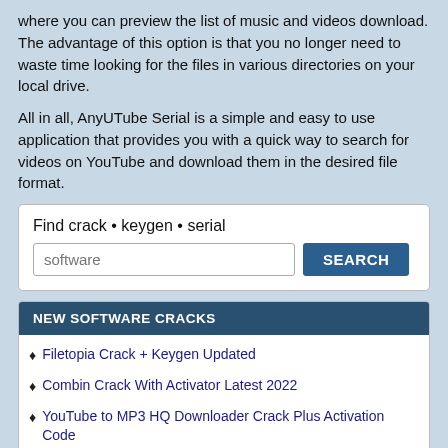where you can preview the list of music and videos download. The advantage of this option is that you no longer need to waste time looking for the files in various directories on your local drive.
All in all, AnyUTube Serial is a simple and easy to use application that provides you with a quick way to search for videos on YouTube and download them in the desired file format.
Find crack • keygen • serial [search box with 'software' placeholder and SEARCH button]
NEW SOFTWARE CRACKS
Filetopia Crack + Keygen Updated
Combin Crack With Activator Latest 2022
YouTube to MP3 HQ Downloader Crack Plus Activation Code
Fast Video Downloader Crack + Serial Key (Updated)
Internet Connection Checker Crack & Keygen
Dailyaha for Windows 8.1 Crack With Activation Code
MotionCaster Crack & Activation Code
Sabre Crack With License Key...